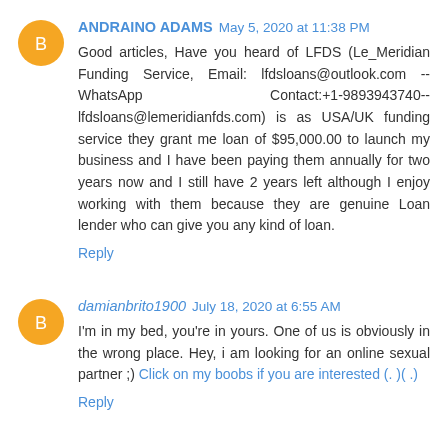ANDRAINO ADAMS  May 5, 2020 at 11:38 PM
Good articles, Have you heard of LFDS (Le_Meridian Funding Service, Email: lfdsloans@outlook.com -- WhatsApp Contact:+1-9893943740-- lfdsloans@lemeridianfds.com) is as USA/UK funding service they grant me loan of $95,000.00 to launch my business and I have been paying them annually for two years now and I still have 2 years left although I enjoy working with them because they are genuine Loan lender who can give you any kind of loan.
Reply
damianbrito1900  July 18, 2020 at 6:55 AM
I'm in my bed, you're in yours. One of us is obviously in the wrong place. Hey, i am looking for an online sexual partner ;) Click on my boobs if you are interested (. )( .)
Reply